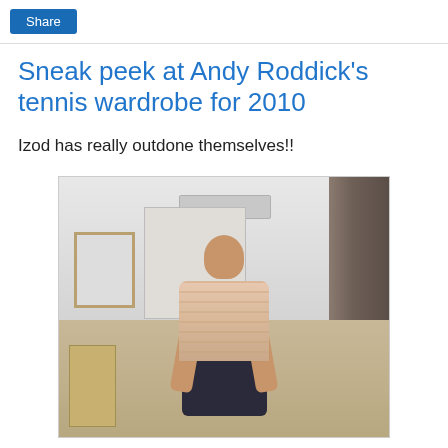Share
Sneak peek at Andy Roddick's tennis wardrobe for 2010
Izod has really outdone themselves!!
[Figure (photo): A man (Andy Roddick) standing indoors wearing a light pink/peach striped polo shirt and dark shorts, with a white wall, AC vent, curtain, picture frame, and chairs visible in the background.]